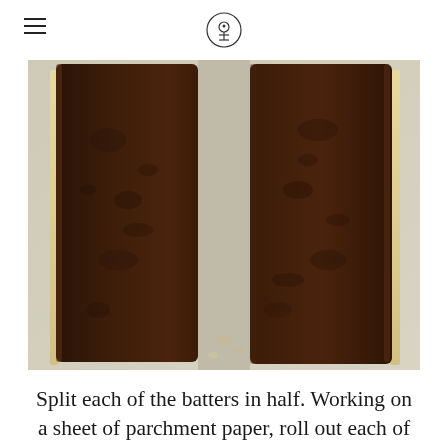[logo icon]
[Figure (photo): Two baked chocolate brownie/cake logs split in half lying on parchment paper, dark brown color, with slightly lighter edges, viewed from above.]
Split each of the batters in half. Working on a sheet of parchment paper, roll out each of the 4 halves into a 8” x 4” square